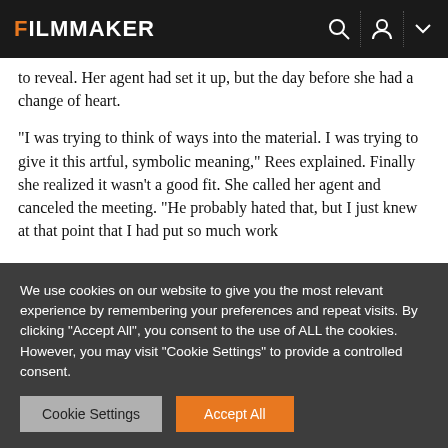FILMMAKER
to reveal. Her agent had set it up, but the day before she had a change of heart.
“I was trying to think of ways into the material. I was trying to give it this artful, symbolic meaning,” Rees explained. Finally she realized it wasn’t a good fit. She called her agent and canceled the meeting. “He probably hated that, but I just knew at that point that I had put so much work
We use cookies on our website to give you the most relevant experience by remembering your preferences and repeat visits. By clicking “Accept All”, you consent to the use of ALL the cookies. However, you may visit "Cookie Settings" to provide a controlled consent.